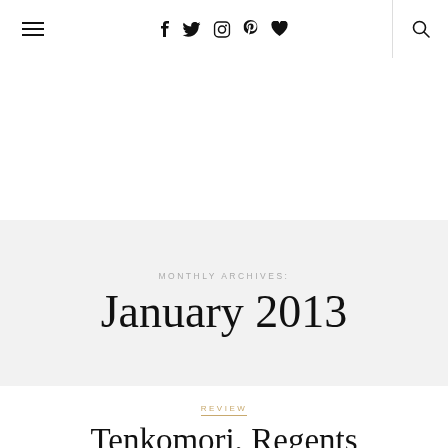≡  f  twitter  instagram  pinterest  ♥  🔍
MONTHLY ARCHIVES:
January 2013
REVIEW
Tenkomori, Regents